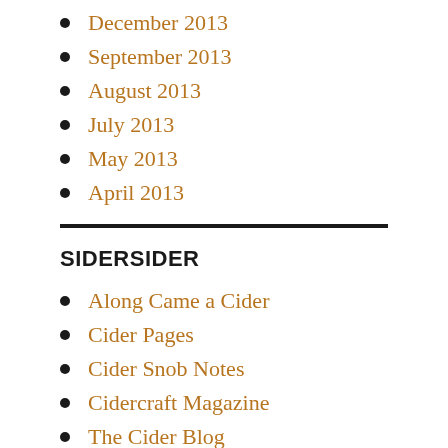December 2013
September 2013
August 2013
July 2013
May 2013
April 2013
SIDERSIDER
Along Came a Cider
Cider Pages
Cider Snob Notes
Cidercraft Magazine
The Cider Blog